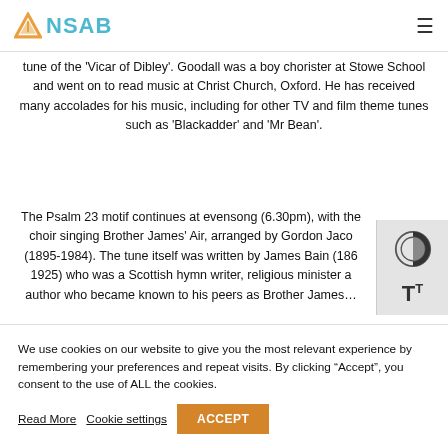ANSAB
tune of the 'Vicar of Dibley'. Goodall was a boy chorister at Stowe School and went on to read music at Christ Church, Oxford. He has received many accolades for his music, including for other TV and film theme tunes such as 'Blackadder' and 'Mr Bean'.
The Psalm 23 motif continues at evensong (6.30pm), with the choir singing Brother James' Air, arranged by Gordon Jacob (1895-1984). The tune itself was written by James Bain (1860-1925) who was a Scottish hymn writer, religious minister and author who became known to his peers as Brother James…
We use cookies on our website to give you the most relevant experience by remembering your preferences and repeat visits. By clicking "Accept", you consent to the use of ALL the cookies.
Read More  Cookie settings  ACCEPT